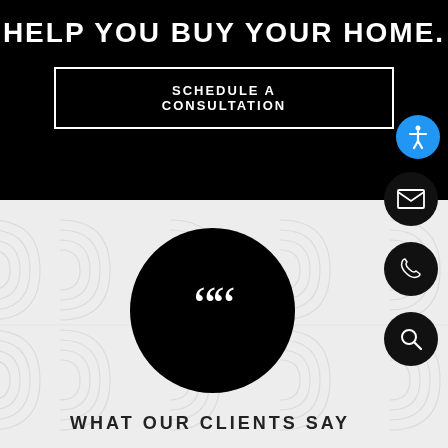HELP YOU BUY YOUR HOME.
SCHEDULE A CONSULTATION
[Figure (illustration): Decorative wavy concentric lines pattern background in light gray]
[Figure (illustration): Large black circle with white opening quotation marks (66) representing a testimonials/reviews section]
WHAT OUR CLIENTS SAY
[Figure (illustration): Blue circle accessibility icon button]
[Figure (illustration): Black circle email/envelope icon button]
[Figure (illustration): Black circle phone icon button]
[Figure (illustration): Black circle search/magnifying glass icon button]